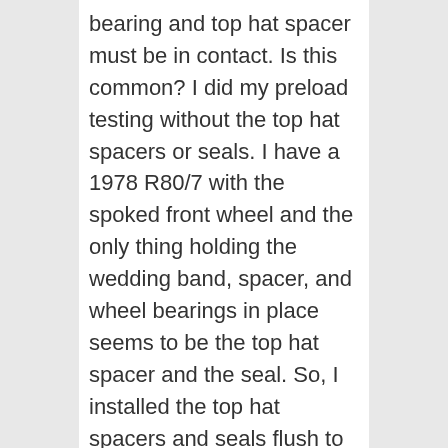bearing and top hat spacer must be in contact. Is this common? I did my preload testing without the top hat spacers or seals. I have a 1978 R80/7 with the spoked front wheel and the only thing holding the wedding band, spacer, and wheel bearings in place seems to be the top hat spacer and the seal. So, I installed the top hat spacers and seals flush to the backside of the inner wheel bearing.